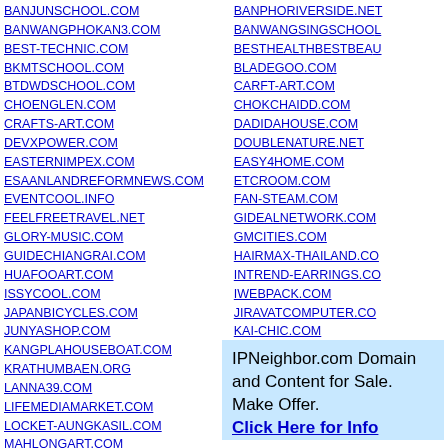BANJUNSCHOOL.COM
BANWANGPHOKAN3.COM
BEST-TECHNIC.COM
BKMTSCHOOL.COM
BTDWDSCHOOL.COM
CHOENGLEN.COM
CRAFTS-ART.COM
DEVXPOWER.COM
EASTERNIMPEX.COM
ESAANLANDREFORMNEWS.COM
EVENTCOOL.INFO
FEELFREETRAVEL.NET
GLORY-MUSIC.COM
GUIDECHIANGRAI.COM
HUAFOOART.COM
ISSYCOOL.COM
JAPANBICYCLES.COM
JUNYASHOP.COM
KANGPLAHOUSEBOAT.COM
KRATHUMBAEN.ORG
LANNA39.COM
LIFEMEDIAMARKET.COM
LOCKET-AUNGKASIL.COM
MAHLONGART.COM
MASTERKOOL-CCS.COM
MEDCONTROLSYSTEMS.COM
MONAEDECOR.COM
MUSICBOXNK.NET
BANPHORIVERSIDE.NET
BANWANGSINGSCHOOL.COM
BESTHEALTHBESTBEAUTY.COM
BLADEGOO.COM
CARFT-ART.COM
CHOKCHAIDD.COM
DADIDAHOUSE.COM
DOUBLENATURE.NET
EASY4HOME.COM
ETCROOM.COM
FAN-STEAM.COM
GIDEALNETWORK.COM
GMCITIES.COM
HAIRMAX-THAILAND.COM
INTREND-EARRINGS.COM
IWEBPACK.COM
JIRAVATCOMPUTER.COM
KAI-CHIC.COM
KHAOPUN.NET
KUDKHAOPUN.COM
LEKPLUTO.ORG
LINING-PATTAYA.COM
LOUKMAI.COM
IPNeighbor.com Domain and Content for Sale. Make Offer. Click Here for Info